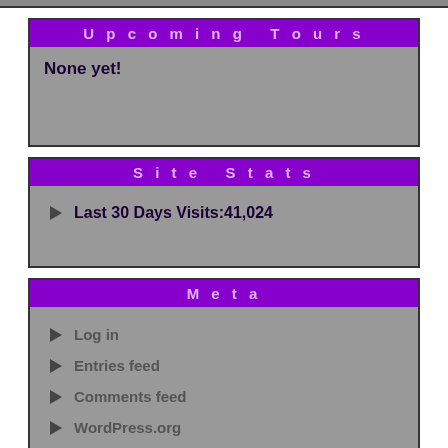Upcoming Tours
None yet!
Site Stats
Last 30 Days Visits:41,024
Meta
Log in
Entries feed
Comments feed
WordPress.org
CTCC Reviews For: